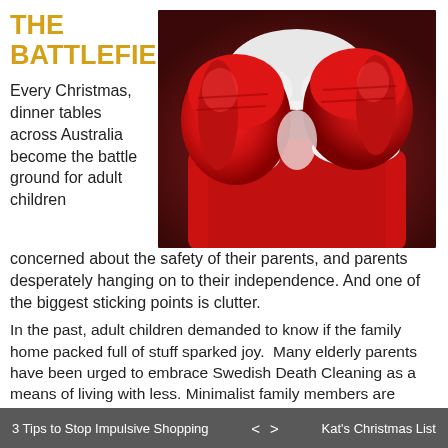THE BATTLEFIELD
[Figure (photo): Santa Claus in red suit wearing large red boxing gloves raised up, photographed against a dark reddish-brown background]
Every Christmas, dinner tables across Australia become the battle ground for adult children concerned about the safety of their parents, and parents desperately hanging on to their independence. And one of the biggest sticking points is clutter.
In the past, adult children demanded to know if the family home packed full of stuff sparked joy.  Many elderly parents have been urged to embrace Swedish Death Cleaning as a means of living with less. Minimalist family members are putting pressure on others to join the trend. Gripped with FOTO (Fear of Throwing Out) parents feigned hearing loss and artfully change the
3 Tips to Stop Impulsive Shopping  <  >  Kat's Christmas List